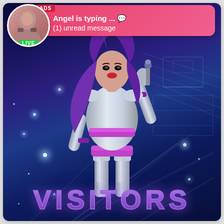[Figure (illustration): Book cover for 'VISITORS' by Anastasia Pierce. A woman with long purple hair wearing a silver futuristic outfit with purple accents and silver thigh-high boots poses against a dark blue space-themed background with sparkles and light beams. The title 'VISITORS' appears in large purple letters at the bottom and the author name 'ANASTASIA PIERCE' appears in the upper right.]
[Figure (screenshot): Advertising overlay notification at the top of the screen. Shows a circular avatar photo with a 'LIVE' badge, and a pink/red chat bubble labeled 'ADS' with text: 'Angel is typing ... 💬' and '(1) unread message'.]